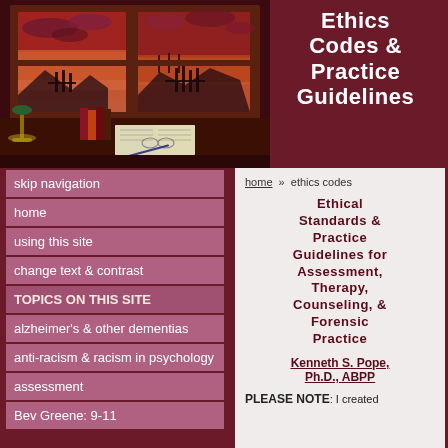[Figure (illustration): A desk scene with an open window showing a dramatic sunset sky and pier over water, with books, a lamp, an open book, glasses, and a pen on the desk. Dark reddish-brown wooden desk and window frame.]
Ethics Codes & Practice Guidelines
skip navigation
home
using this site
change text & contrast
TOPICS ON THIS SITE
alzheimer's & other dementias
anti-racism & racism in psychology
assessment
Bev Greene: 9-11
home » ethics codes
Ethical Standards & Practice Guidelines for Assessment, Therapy, Counseling, & Forensic Practice
Kenneth S. Pope, Ph.D., ABPP
PLEASE NOTE: I created